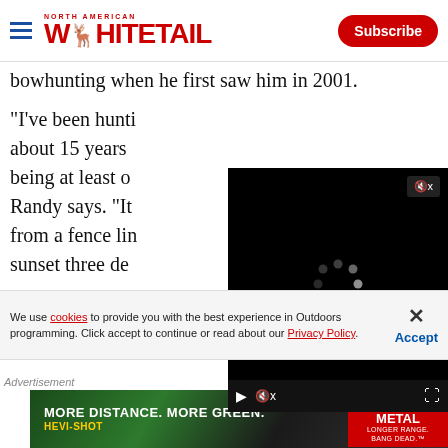North American Whitetail | Subscribe
bowhunting when he first saw him in 2001.
"I've been hunti... about 15 years ... being at least o... Randy says. "It ... from a fence lin... sunset three de... working up through a slough. Bringing up the
[Figure (screenshot): Embedded video player with black background, loading spinner dots, mute button, play button, volume and expand controls]
We use cookies to provide you with the best experience in Outdoors programming. Click accept to continue or read about our Privacy Policy.
[Figure (photo): Advertisement banner for Hevi-Shot Hevi-Metal ammunition: 'More Distance. More Green. Hevi-Shot' with Hevi Metal logo and tagline 'Longer Range. Bang Dead.']